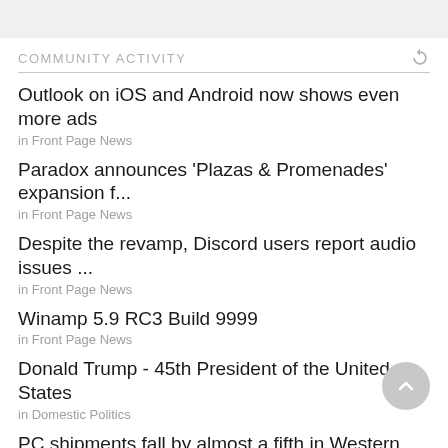COMMUNITY ACTIVITY
Outlook on iOS and Android now shows even more ads
in Front Page News
Paradox announces 'Plazas & Promenades' expansion f...
in Front Page News
Despite the revamp, Discord users report audio issues ...
in Front Page News
Winamp 5.9 RC3 Build 9999
in Front Page News
Donald Trump - 45th President of the United States
in Domestic Politics
PC shipments fall by almost a fifth in Western Europe d...
in Front Page News
Microsoft is adding a bunch of new features to Whiteb...
in Front Page News
Hackers are exploiting Microsoft's MFA to gain access t...